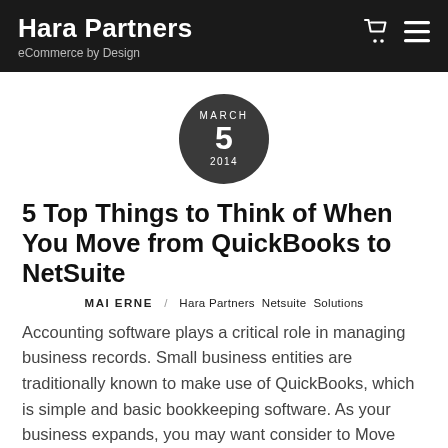Hara Partners
eCommerce by Design
[Figure (other): Dark circular date badge showing MARCH 5 2014]
5 Top Things to Think of When You Move from QuickBooks to NetSuite
MAI ERNE / Hara Partners Netsuite Solutions
Accounting software plays a critical role in managing business records. Small business entities are traditionally known to make use of QuickBooks, which is simple and basic bookkeeping software. As your business expands, you may want consider to Move